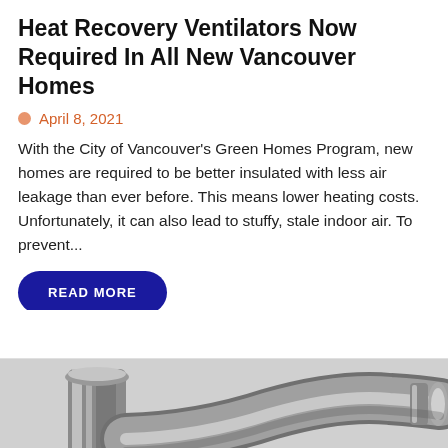Heat Recovery Ventilators Now Required In All New Vancouver Homes
April 8, 2021
With the City of Vancouver's Green Homes Program, new homes are required to be better insulated with less air leakage than ever before. This means lower heating costs. Unfortunately, it can also lead to stuffy, stale indoor air. To prevent...
READ MORE
[Figure (photo): Metallic pipes and ventilation hardware components, shown against a light background, partially cropped at the bottom of the page.]